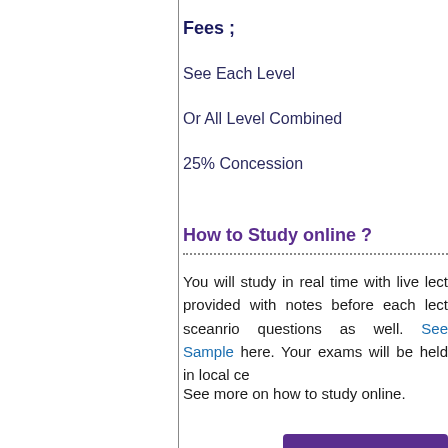Fees ;
See Each Level
Or All Level Combined
25% Concession
How to Study online ?
You will study in real time with live lect provided with notes before each lect sceanrio questions as well. See Sample here. Your exams will be held in local ce
See more on how to study online.